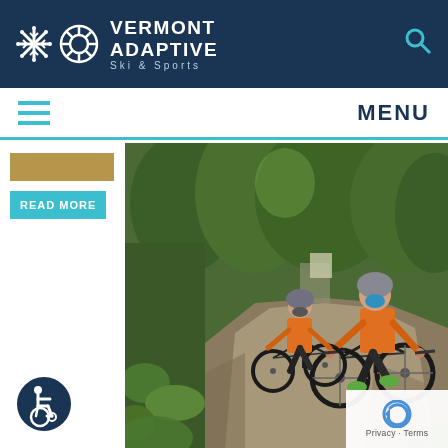VERMONT ADAPTIVE Ski & Sports
MENU
READ MORE
[Figure (photo): Two cyclists wearing orange vests and helmets riding mountain bikes on a dirt forest trail surrounded by green trees]
[Figure (logo): Accessibility/wheelchair user icon in a circle — ADA accessibility symbol]
Privacy - Terms